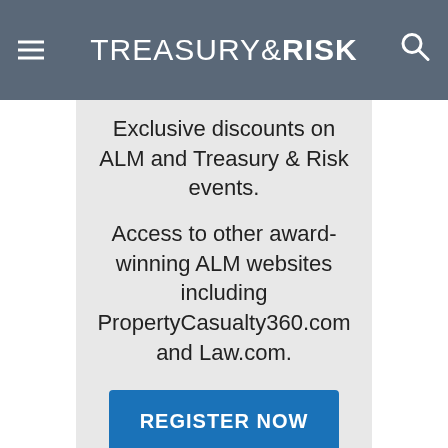TREASURY&RISK
Exclusive discounts on ALM and Treasury & Risk events.
Access to other award-winning ALM websites including PropertyCasualty360.com and Law.com.
REGISTER NOW
Already have an account? Sign In Now